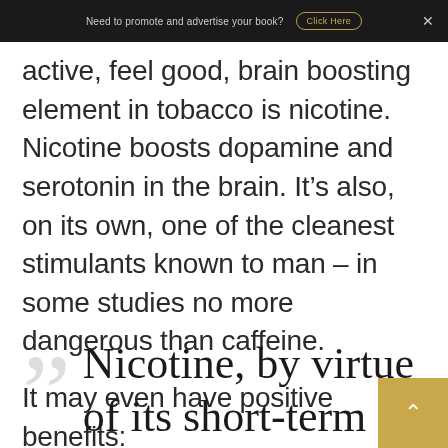Need to promote and advertise your book? Click Here
active, feel good, brain boosting element in tobacco is nicotine. Nicotine boosts dopamine and serotonin in the brain. It’s also, on its own, one of the cleanest stimulants known to man – in some studies no more dangerous than caffeine.
It may even have positive benefits:
Nicotine, by virtue of its short-term